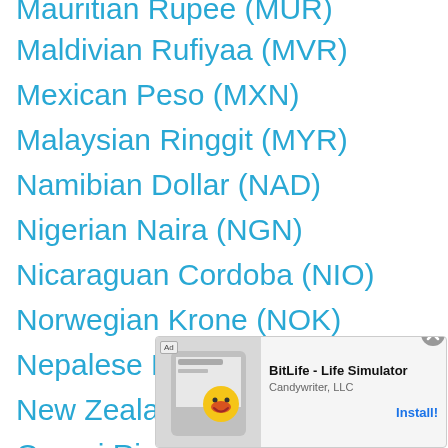Mauritian Rupee (MUR)
Maldivian Rufiyaa (MVR)
Mexican Peso (MXN)
Malaysian Ringgit (MYR)
Namibian Dollar (NAD)
Nigerian Naira (NGN)
Nicaraguan Cordoba (NIO)
Norwegian Krone (NOK)
Nepalese Rupee (NPR)
New Zealand Dollar (NZD)
Omani Rial (OMR)
Peruvian...
Papua...
[Figure (screenshot): Advertisement overlay: BitLife - Life Simulator app ad by Candywriter, LLC with Install button]